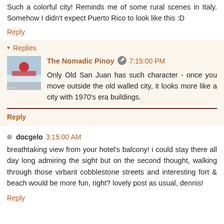Such a colorful city! Reminds me of some rural scenes in Italy. Somehow I didn't expect Puerto Rico to look like this :D
Reply
▾ Replies
The Nomadic Pinoy  7:15:00 PM
Only Old San Juan has such character - once you move outside the old walled city, it looks more like a city with 1970's era buildings.
Reply
docgelo  3:15:00 AM
breathtaking view from your hotel's balcony! i could stay there all day long admiring the sight but on the second thought, walking through those virbant cobblestone streets and interesting fort & beach would be more fun, right? lovely post as usual, dennis!
Reply